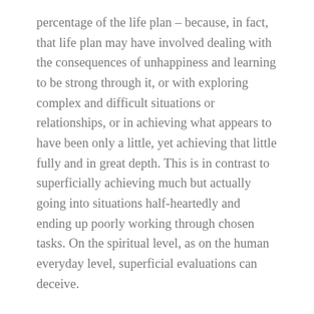percentage of the life plan – because, in fact, that life plan may have involved dealing with the consequences of unhappiness and learning to be strong through it, or with exploring complex and difficult situations or relationships, or in achieving what appears to have been only a little, yet achieving that little fully and in great depth. This is in contrast to superficially achieving much but actually going into situations half-heartedly and ending up poorly working through chosen tasks. On the spiritual level, as on the human everyday level, superficial evaluations can deceive.
Human psychology is complicated. It contains many locks. Our intention is to provide you, throughout this series of five books, with the